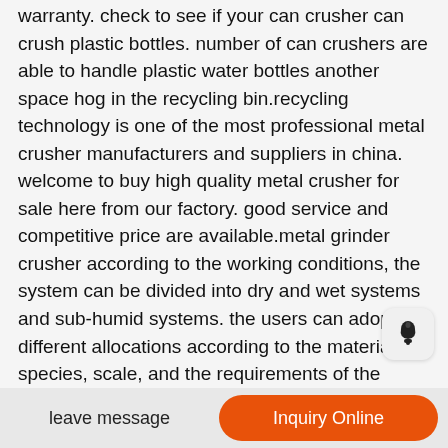warranty. check to see if your can crusher can crush plastic bottles. number of can crushers are able to handle plastic water bottles another space hog in the recycling bin.recycling technology is one of the most professional metal crusher manufacturers and suppliers in china. welcome to buy high quality metal crusher for sale here from our factory. good service and competitive price are available.metal grinder crusher according to the working conditions, the system can be divided into dry and wet systems and sub-humid systems. the users can adopt different allocations according to the materials species, scale, and the requirements of the finished goods 3), during the machines operation, we can offer the technology service freely if you need to adjust the layout and application.aug 29, 2017 scrap metal crusher machine. 503 likes. scrap metal crusher, car crusher. tin can crusher, steel crusherbaiqius metal can crusher oz,heavy duty can crusher wall mounted smasher is used aluminum canssodabeer for
leave message
Inquiry Online